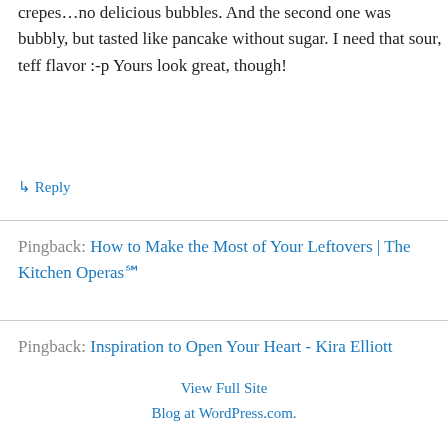crepes…no delicious bubbles. And the second one was bubbly, but tasted like pancake without sugar. I need that sour, teff flavor :-p Yours look great, though!
↳ Reply
Pingback: How to Make the Most of Your Leftovers | The Kitchen Operas℠
Pingback: Inspiration to Open Your Heart - Kira Elliott
View Full Site
Blog at WordPress.com.